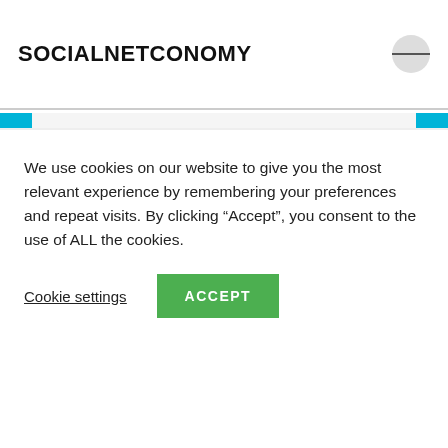SOCIALNETCONOMY
If you can stream it, you can do it! Disney+ debuts today.
November 12, 2019
Today is the day: Disney+ starts its streaming venture. There are a lot of expectations around this launch and I have read both positive and negative outlook about this launch. The big question is: will it beat Netflix? The question
We use cookies on our website to give you the most relevant experience by remembering your preferences and repeat visits. By clicking “Accept”, you consent to the use of ALL the cookies.
Cookie settings
ACCEPT